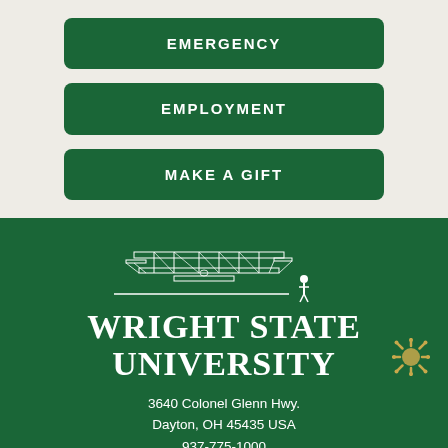EMERGENCY
EMPLOYMENT
MAKE A GIFT
[Figure (logo): Wright State University logo with Wright Flyer biplane illustration and a figure standing to the right]
WRIGHT STATE UNIVERSITY
3640 Colonel Glenn Hwy.
Dayton, OH 45435 USA
937-775-1000